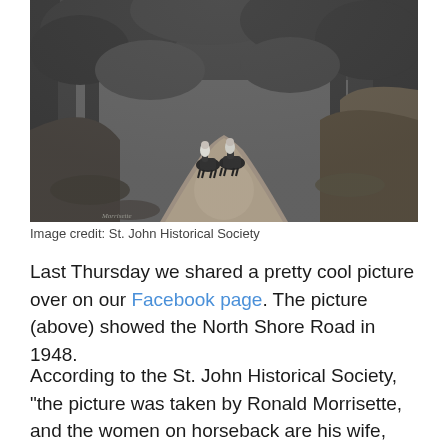[Figure (photo): Black and white historical photograph showing two people on horseback riding along a narrow dirt road (North Shore Road) surrounded by dense tropical trees and vegetation, taken in 1948 by Ronald Morrisette.]
Image credit: St. John Historical Society
Last Thursday we shared a pretty cool picture over on our Facebook page. The picture (above) showed the North Shore Road in 1948.
According to the St. John Historical Society, “the picture was taken by Ronald Morrisette, and the women on horseback are his wife, Sarah Morrisette, left, and Helen Auble (Ms. Auble, a St